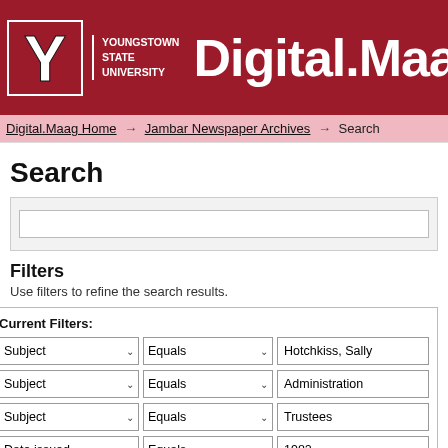[Figure (logo): Youngstown State University Y logo with text 'YOUNGSTOWN STATE UNIVERSITY' and 'Digital.Maa' header banner in dark red]
Digital.Maag Home → Jambar Newspaper Archives → Search
Search
Filters
Use filters to refine the search results.
Current Filters:
Subject  Equals  Hotchkiss, Sally
Subject  Equals  Administration
Subject  Equals  Trustees
Date issued  Equals  1982
Subject  Equals  Faculty
Author  Equals  Celidonio, John